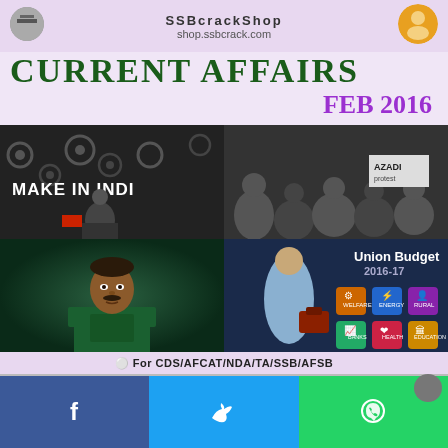shop.ssbcrack.com
Current Affairs
FEB 2016
[Figure (photo): Make in India event with speaker at podium, gears background, black and white photo]
[Figure (photo): Protest crowd holding signs, black and white photo]
[Figure (photo): Military/army officer portrait in green uniform, color photo]
[Figure (photo): Union Budget 2016-17 graphic with Finance Minister holding briefcase and category icons]
For CDS/AFCAT/NDA/TA/SSB/AFSB